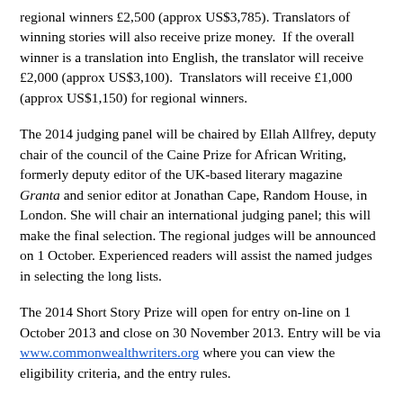regional winners £2,500 (approx US$3,785). Translators of winning stories will also receive prize money.  If the overall winner is a translation into English, the translator will receive £2,000 (approx US$3,100).  Translators will receive £1,000 (approx US$1,150) for regional winners.
The 2014 judging panel will be chaired by Ellah Allfrey, deputy chair of the council of the Caine Prize for African Writing, formerly deputy editor of the UK-based literary magazine Granta and senior editor at Jonathan Cape, Random House, in London. She will chair an international judging panel; this will make the final selection. The regional judges will be announced on 1 October. Experienced readers will assist the named judges in selecting the long lists.
The 2014 Short Story Prize will open for entry on-line on 1 October 2013 and close on 30 November 2013. Entry will be via www.commonwealthwriters.org where you can view the eligibility criteria, and the entry rules.
So new Asian writers: Get writing! Tell the world what great stories, and what great storytellers, we have on this continent! If